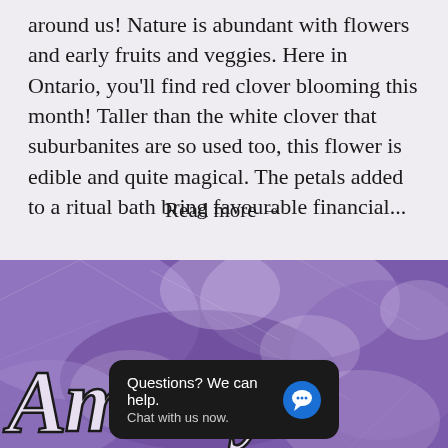around us! Nature is abundant with flowers and early fruits and veggies. Here in Ontario, you'll find red clover blooming this month! Taller than the white clover that suburbanites are so used too, this flower is edible and quite magical. The petals added to a ritual bath bring favourable financial...
Read more →
[Figure (photo): Amethyst crystal close-up photograph with purple and white crystalline texture, used as background image with large italic serif text 'Amethyst' overlaid in white with black outline stroke]
Amethyst
Questions? We can help. Chat with us now.